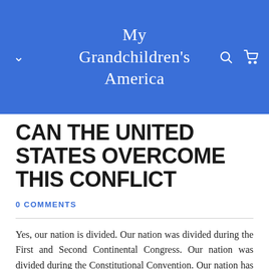My Grandchildren's America
CAN THE UNITED STATES OVERCOME THIS CONFLICT
0 COMMENTS
Yes, our nation is divided. Our nation was divided during the First and Second Continental Congress. Our nation was divided during the Constitutional Convention. Our nation has been divided all of its existence. But never has our nation